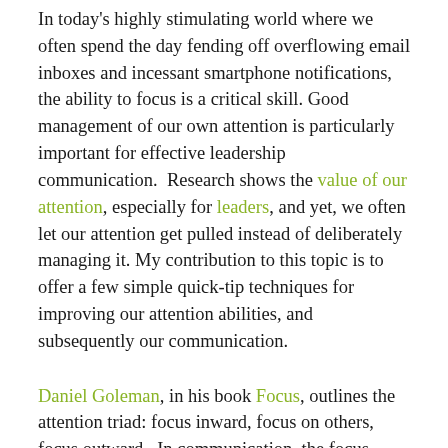In today's highly stimulating world where we often spend the day fending off overflowing email inboxes and incessant smartphone notifications, the ability to focus is a critical skill. Good management of our own attention is particularly important for effective leadership communication.  Research shows the value of our attention, especially for leaders, and yet, we often let our attention get pulled instead of deliberately managing it. My contribution to this topic is to offer a few simple quick-tip techniques for improving our attention abilities, and subsequently our communication.
Daniel Goleman, in his book Focus, outlines the attention triad: focus inward, focus on others, focus outward.  In communication, the focus inward gives us insight into what is personally influencing our own communication in the moment.  Focus on others allows us to pick up and respond to their cues.  Focus